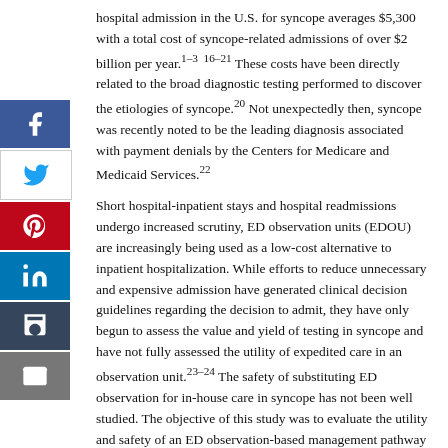hospital admission in the U.S. for syncope averages $5,300 with a total cost of syncope-related admissions of over $2 billion per year.1-3  16-21 These costs have been directly related to the broad diagnostic testing performed to discover the etiologies of syncope.20 Not unexpectedly then, syncope was recently noted to be the leading diagnosis associated with payment denials by the Centers for Medicare and Medicaid Services.22
Short hospital-inpatient stays and hospital readmissions undergo increased scrutiny, ED observation units (EDOU) are increasingly being used as a low-cost alternative to inpatient hospitalization. While efforts to reduce unnecessary and expensive admission have generated clinical decision guidelines regarding the decision to admit, they have only begun to assess the value and yield of testing in syncope and have not fully assessed the utility of expedited care in an observation unit.23-24 The safety of substituting ED observation for in-house care in syncope has not been well studied. The objective of this study was to evaluate the utility and safety of an ED observation-based management pathway for the evaluation of patients presenting to the ED following a syncopal event.
METHODS